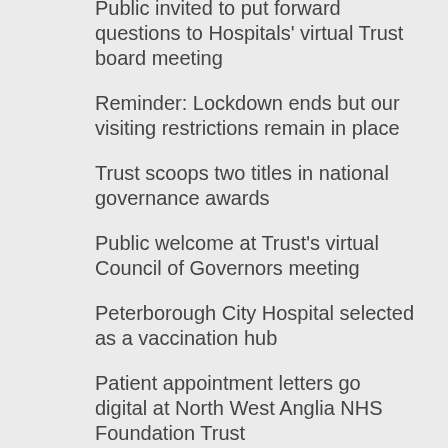Public invited to put forward questions to Hospitals' virtual Trust board meeting
Reminder: Lockdown ends but our visiting restrictions remain in place
Trust scoops two titles in national governance awards
Public welcome at Trust's virtual Council of Governors meeting
Peterborough City Hospital selected as a vaccination hub
Patient appointment letters go digital at North West Anglia NHS Foundation Trust
Trust launches My Pregnancy Notes